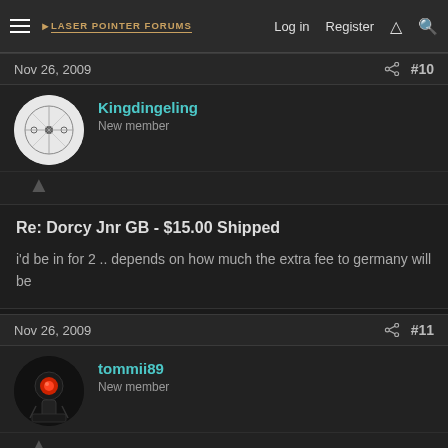Laser Pointer Forums | Log in | Register
Nov 26, 2009  #10
Kingdingeling
New member
Re: Dorcy Jnr GB - $15.00 Shipped
i'd be in for 2 .. depends on how much the extra fee to germany will be
Nov 26, 2009  #11
tommii89
New member
Re: Dorcy Jnr GB - $15.00 Shipped